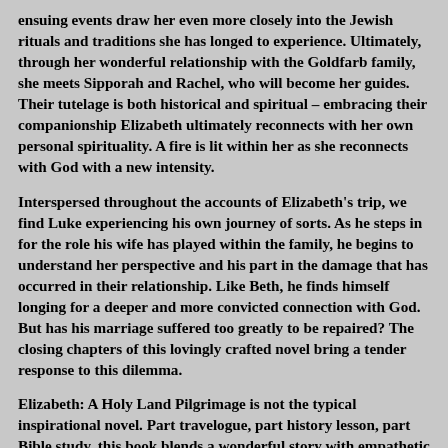ensuing events draw her even more closely into the Jewish rituals and traditions she has longed to experience. Ultimately, through her wonderful relationship with the Goldfarb family, she meets Sipporah and Rachel, who will become her guides. Their tutelage is both historical and spiritual – embracing their companionship Elizabeth ultimately reconnects with her own personal spirituality. A fire is lit within her as she reconnects with God with a new intensity.
Interspersed throughout the accounts of Elizabeth's trip, we find Luke experiencing his own journey of sorts. As he steps in for the role his wife has played within the family, he begins to understand her perspective and his part in the damage that has occurred in their relationship. Like Beth, he finds himself longing for a deeper and more convicted connection with God. But has his marriage suffered too greatly to be repaired? The closing chapters of this lovingly crafted novel bring a tender response to this dilemma.
Elizabeth: A Holy Land Pilgrimage is not the typical inspirational novel. Part travelogue, part history lesson, part Bible study, this book blends a wonderful story with empathetic characters. Author Cheryl Dickow's research and attention to detail are apparent in this smartly written tale. Dickow's strengths lie in both character development and in